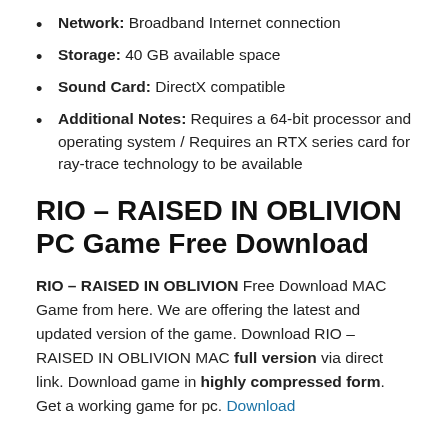Network: Broadband Internet connection
Storage: 40 GB available space
Sound Card: DirectX compatible
Additional Notes: Requires a 64-bit processor and operating system / Requires an RTX series card for ray-trace technology to be available
RIO – RAISED IN OBLIVION PC Game Free Download
RIO – RAISED IN OBLIVION Free Download MAC Game from here. We are offering the latest and updated version of the game. Download RIO – RAISED IN OBLIVION MAC full version via direct link. Download game in highly compressed form. Get a working game for pc. Download